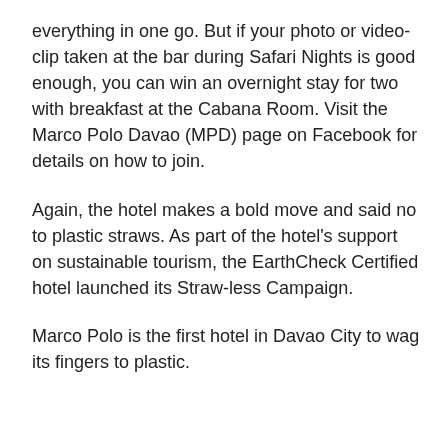everything in one go. But if your photo or video-clip taken at the bar during Safari Nights is good enough, you can win an overnight stay for two with breakfast at the Cabana Room. Visit the Marco Polo Davao (MPD) page on Facebook for details on how to join.
Again, the hotel makes a bold move and said no to plastic straws. As part of the hotel's support on sustainable tourism, the EarthCheck Certified hotel launched its Straw-less Campaign.
Marco Polo is the first hotel in Davao City to wag its fingers to plastic.